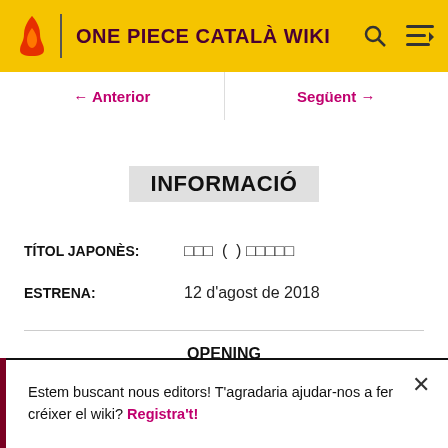ONE PIECE CATALÀ WIKI
← Anterior   Següent →
INFORMACIÓ
TÍTOL JAPONÈS:   □□□  (  ) □□□□□
ESTRENA:   12 d'agost de 2018
OPENING
Estem buscant nous editors! T'agradaria ajudar-nos a fer créixer el wiki? Registra't!